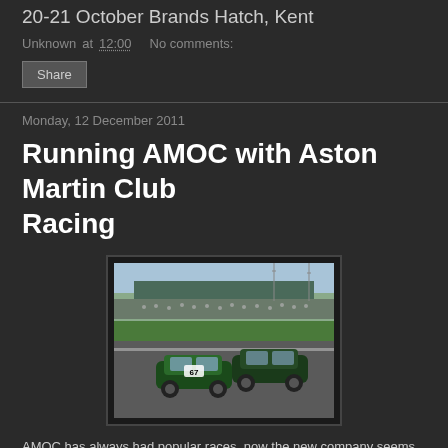20-21 October Brands Hatch, Kent
Unknown at 12:00   No comments:
Share
Monday, 12 December 2011
Running AMOC with Aston Martin Club Racing
[Figure (photo): Two dark green Aston Martin racing cars on a circuit track, with a large crowd of spectators in the grandstands in the background. The cars are racing closely together, one bearing the number 67.]
AMOC has always had popular races, now the new company seems set to